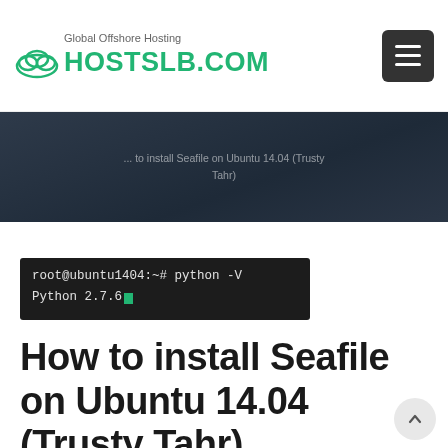Global Offshore Hosting HOSTSLB.COM
[Figure (screenshot): Dark banner with partially visible text about Ubuntu 14.04 (Trusty Tahr)]
[Figure (screenshot): Terminal window showing: root@ubuntu1404:~# python -V
Python 2.7.6]
How to install Seafile on Ubuntu 14.04 (Trusty Tahr)